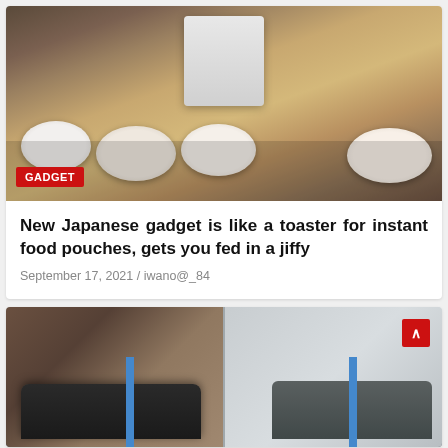[Figure (photo): Food items displayed on a wooden table around a white boxy appliance, with multiple plates and bowls of Japanese dishes. A red 'GADGET' label badge overlaid at bottom-left.]
New Japanese gadget is like a toaster for instant food pouches, gets you fed in a jiffy
September 17, 2021 / iwano@_84
[Figure (photo): Two Toyota cars on automotive lifts in a garage/shop setting. A red scroll-up button visible in top-right corner.]